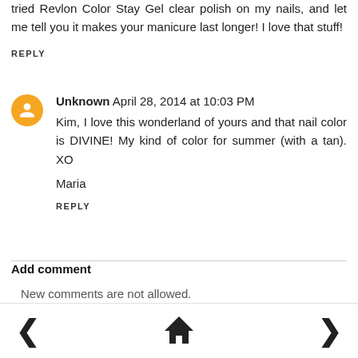tried Revlon Color Stay Gel clear polish on my nails, and let me tell you it makes your manicure last longer! I love that stuff!
REPLY
Unknown  April 28, 2014 at 10:03 PM
Kim, I love this wonderland of yours and that nail color is DIVINE! My kind of color for summer (with a tan). XO

Maria
REPLY
Add comment
New comments are not allowed.